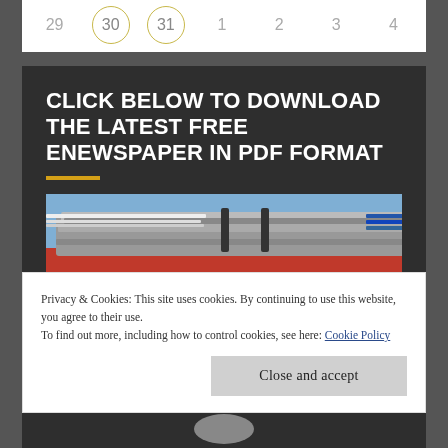| 29 | 30 | 31 | 1 | 2 | 3 | 4 |
CLICK BELOW TO DOWNLOAD THE LATEST FREE ENEWSPAPER IN PDF FORMAT
[Figure (photo): Stack of bundled newspapers on a red surface with blue background]
Privacy & Cookies: This site uses cookies. By continuing to use this website, you agree to their use.
To find out more, including how to control cookies, see here: Cookie Policy
Close and accept